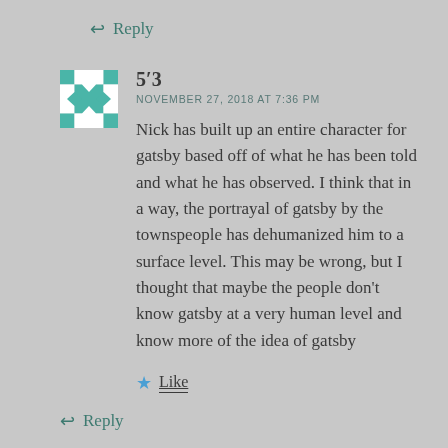↩ Reply
5′3
NOVEMBER 27, 2018 AT 7:36 PM
Nick has built up an entire character for gatsby based off of what he has been told and what he has observed. I think that in a way, the portrayal of gatsby by the townspeople has dehumanized him to a surface level. This may be wrong, but I thought that maybe the people don't know gatsby at a very human level and know more of the idea of gatsby
★ Like
↩ Reply